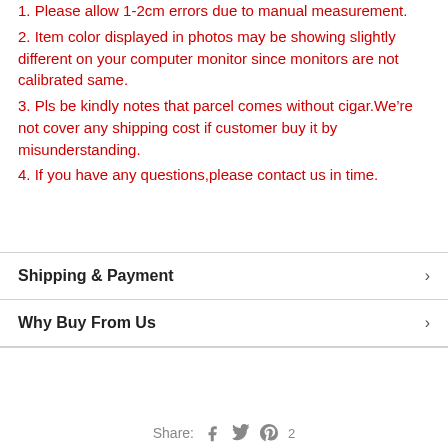1. Please allow 1-2cm errors due to manual measurement.
2. Item color displayed in photos may be showing slightly different on your computer monitor since monitors are not calibrated same.
3. Pls be kindly notes that parcel comes without cigar.We’re not cover any shipping cost if customer buy it by misunderstanding.
4. If you have any questions,please contact us in time.
Shipping & Payment
Why Buy From Us
Share: 2